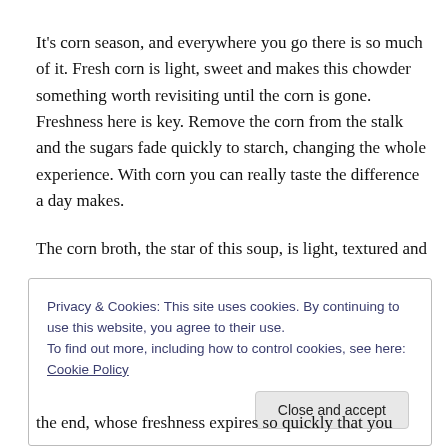It's corn season, and everywhere you go there is so much of it. Fresh corn is light, sweet and makes this chowder something worth revisiting until the corn is gone. Freshness here is key. Remove the corn from the stalk and the sugars fade quickly to starch, changing the whole experience. With corn you can really taste the difference a day makes.
The corn broth, the star of this soup, is light, textured and
Privacy & Cookies: This site uses cookies. By continuing to use this website, you agree to their use.
To find out more, including how to control cookies, see here: Cookie Policy
Close and accept
the end, whose freshness expires so quickly that you